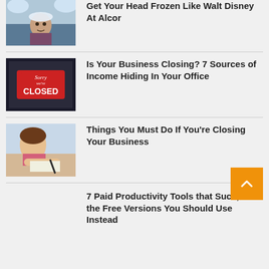[Figure (photo): Person covered in snow outdoors]
Get Your Head Frozen Like Walt Disney At Alcor
[Figure (photo): Sorry We're CLOSED sign on a door]
Is Your Business Closing? 7 Sources of Income Hiding In Your Office
[Figure (photo): Woman writing at a desk]
Things You Must Do If You're Closing Your Business
7 Paid Productivity Tools that Suck, And the Free Versions You Should Use Instead